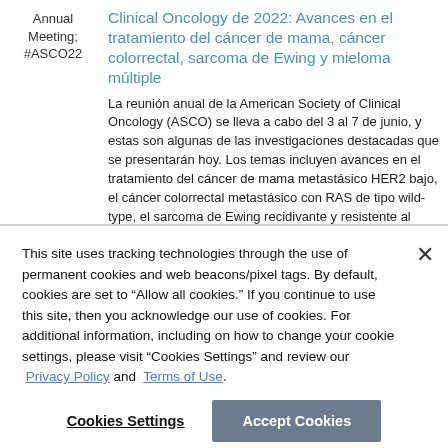Annual Meeting; #ASCO22
Clinical Oncology de 2022: Avances en el tratamiento del cáncer de mama, cáncer colorrectal, sarcoma de Ewing y mieloma múltiple
La reunión anual de la American Society of Clinical Oncology (ASCO) se lleva a cabo del 3 al 7 de junio, y estas son algunas de las investigaciones destacadas que se presentarán hoy. Los temas incluyen avances en el tratamiento del cáncer de mama metastásico HER2 bajo, el cáncer colorrectal metastásico con RAS de tipo wild-type, el sarcoma de Ewing recidivante y resistente al tratamiento y el mieloma múltiple de diagnóstico reciente.
This site uses tracking technologies through the use of permanent cookies and web beacons/pixel tags. By default, cookies are set to "Allow all cookies." If you continue to use this site, then you acknowledge our use of cookies. For additional information, including on how to change your cookie settings, please visit "Cookies Settings" and review our Privacy Policy and Terms of Use.